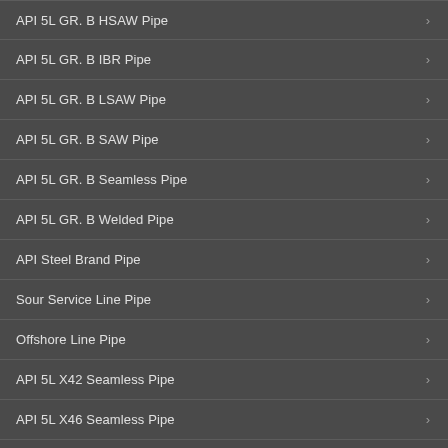API 5L GR. B HSAW Pipe
API 5L GR. B IBR Pipe
API 5L GR. B LSAW Pipe
API 5L GR. B SAW Pipe
API 5L GR. B Seamless Pipe
API 5L GR. B Welded Pipe
API Steel Brand Pipe
Sour Service Line Pipe
Offshore Line Pipe
API 5L X42 Seamless Pipe
API 5L X46 Seamless Pipe